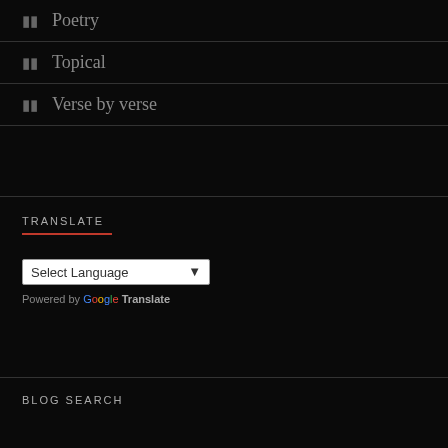Poetry
Topical
Verse by verse
TRANSLATE
[Figure (other): Select Language dropdown widget with Google Translate branding]
BLOG SEARCH